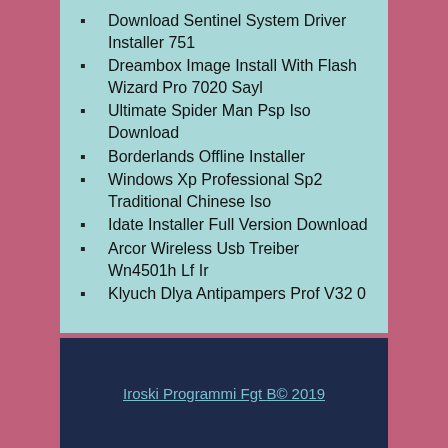Download Sentinel System Driver Installer 751
Dreambox Image Install With Flash Wizard Pro 7020 Sayl
Ultimate Spider Man Psp Iso Download
Borderlands Offline Installer
Windows Xp Professional Sp2 Traditional Chinese Iso
Idate Installer Full Version Download
Arcor Wireless Usb Treiber Wn4501h Lf Ir
Klyuch Dlya Antipampers Prof V32 0
Iroski Programmi Fgt B© 2019